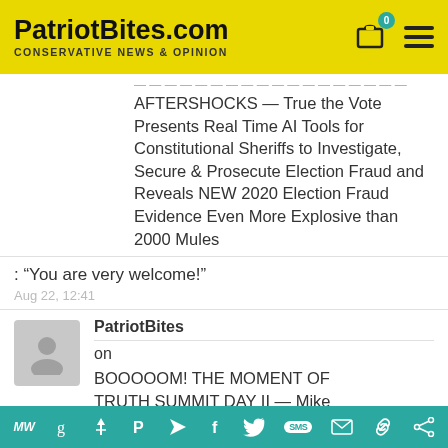PatriotBites.com — CONSERVATIVE NEWS & OPINION
AFTERSHOCKS — True the Vote Presents Real Time AI Tools for Constitutional Sheriffs to Investigate, Secure & Prosecute Election Fraud and Reveals NEW 2020 Election Fraud Evidence Even More Explosive than 2000 Mules
: “You are very welcome!”
Aug 22, 12:41
PatriotBites
on
BOOOOOM! THE MOMENT OF TRUTH SUMMIT DAY II — Mike Lindell Files Motion to Lift National Security Protective Order Preventing Disclosure of the PCAPS LIVE During Remaining 24 Hrs. of
MW g f P [arrow] f [twitter] SMS [mail] [link] [share]